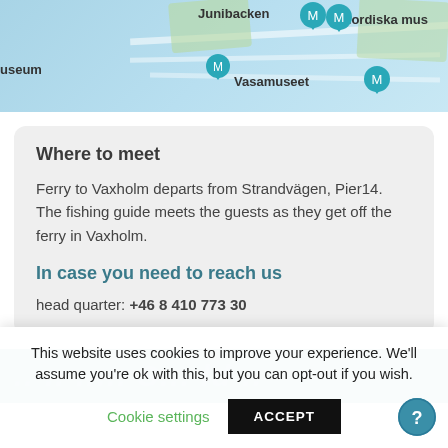[Figure (map): Map screenshot showing Stockholm area with museum location pins: Junibacken, Nordiska mus, Vasamuseet, and a partial label 'useum' on the left edge. Teal map pins with museum icons are visible.]
Where to meet
Ferry to Vaxholm departs from Strandvägen, Pier14. The fishing guide meets the guests as they get off the ferry in Vaxholm.
In case you need to reach us
head quarter: +46 8 410 773 30
[Figure (screenshot): Blue footer band with partially visible italic white text underneath]
This website uses cookies to improve your experience. We'll assume you're ok with this, but you can opt-out if you wish.
Cookie settings   ACCEPT